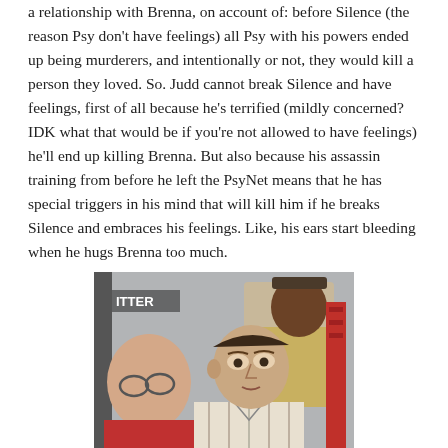a relationship with Brenna, on account of: before Silence (the reason Psy don't have feelings) all Psy with his powers ended up being murderers, and intentionally or not, they would kill a person they loved. So. Judd cannot break Silence and have feelings, first of all because he's terrified (mildly concerned? IDK what that would be if you're not allowed to have feelings) he'll end up killing Brenna. But also because his assassin training from before he left the PsyNet means that he has special triggers in his mind that will kill him if he breaks Silence and embraces his feelings. Like, his ears start bleeding when he hugs Brenna too much.
[Figure (photo): A screenshot from a TV show or movie showing a man in a plaid shirt in the foreground, with a bald man wearing glasses partially visible on the left, and a uniformed officer (sheriff or police) in the background. The setting appears to be an indoor facility with grey walls.]